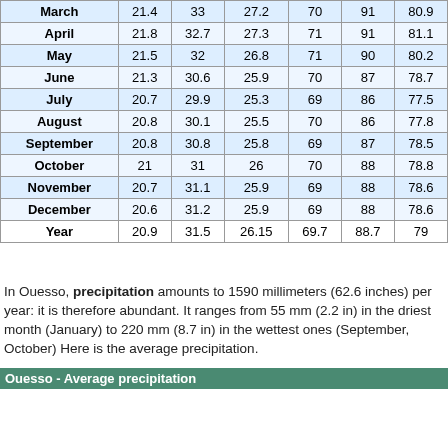| Month | Col1 | Col2 | Col3 | Col4 | Col5 | Col6 |
| --- | --- | --- | --- | --- | --- | --- |
| March | 21.4 | 33 | 27.2 | 70 | 91 | 80.9 |
| April | 21.8 | 32.7 | 27.3 | 71 | 91 | 81.1 |
| May | 21.5 | 32 | 26.8 | 71 | 90 | 80.2 |
| June | 21.3 | 30.6 | 25.9 | 70 | 87 | 78.7 |
| July | 20.7 | 29.9 | 25.3 | 69 | 86 | 77.5 |
| August | 20.8 | 30.1 | 25.5 | 70 | 86 | 77.8 |
| September | 20.8 | 30.8 | 25.8 | 69 | 87 | 78.5 |
| October | 21 | 31 | 26 | 70 | 88 | 78.8 |
| November | 20.7 | 31.1 | 25.9 | 69 | 88 | 78.6 |
| December | 20.6 | 31.2 | 25.9 | 69 | 88 | 78.6 |
| Year | 20.9 | 31.5 | 26.15 | 69.7 | 88.7 | 79 |
In Ouesso, precipitation amounts to 1590 millimeters (62.6 inches) per year: it is therefore abundant. It ranges from 55 mm (2.2 in) in the driest month (January) to 220 mm (8.7 in) in the wettest ones (September, October) Here is the average precipitation.
| Month | Millimeters | Inches | Days |
| --- | --- | --- | --- |
| January | 55 | 2.2 | 4 |
| February | 80 | 3.1 | 5 |
| March | 150 | 5.9 | 9 |
| April | 130 | 5.1 | 8 |